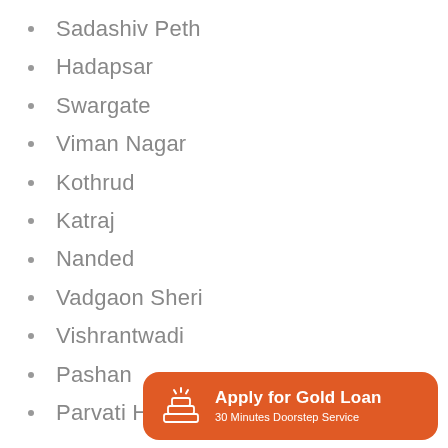Sadashiv Peth
Hadapsar
Swargate
Viman Nagar
Kothrud
Katraj
Nanded
Vadgaon Sheri
Vishrantwadi
Pashan
Parvati Hill
[Figure (infographic): Orange rounded banner with gold bars icon reading 'Apply for Gold Loan' and subtitle '30 Minutes Doorstep Service']